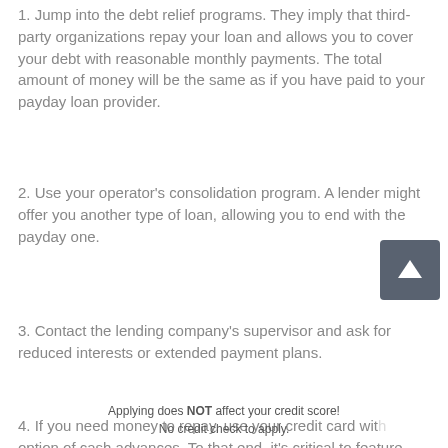1. Jump into the debt relief programs. They imply that third-party organizations repay your loan and allows you to cover your debt with reasonable monthly payments. The total amount of money will be the same as if you have paid to your payday loan provider.
2. Use your operator's consolidation program. A lender might offer you another type of loan, allowing you to end with the payday one.
3. Contact the lending company's supervisor and ask for reduced interests or extended payment plans.
4. If you need money to repay, use your credit card with option of cash advances. To that end, it's critical to feature
Apply Now
Applying does NOT affect your credit score!
No credit check to apply.